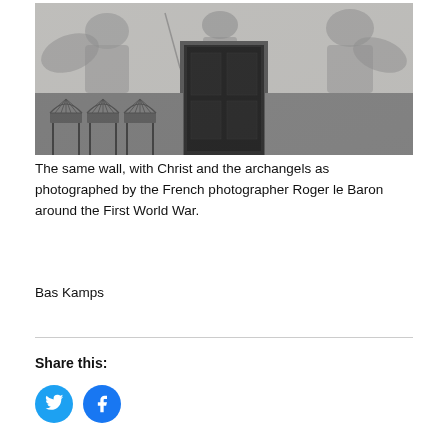[Figure (photo): Black and white photograph of a church interior wall showing deteriorating frescoes of Christ and archangels, with a dark wooden door in the center and ornate fan-back chairs or pews in the lower left.]
The same wall, with Christ and the archangels as photographed by the French photographer Roger le Baron around the First World War.
Bas Kamps
Share this: